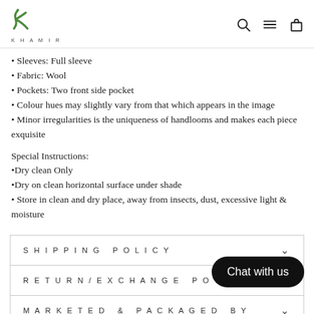KHAMIR - logo with navigation icons (search, menu, bag)
Sleeves: Full sleeve
Fabric: Wool
Pockets: Two front side pocket
Colour hues may slightly vary from that which appears in the image
Minor irregularities is the uniqueness of handlooms and makes each piece exquisite
Special Instructions:
•Dry clean Only
•Dry on clean horizontal surface under shade
• Store in clean and dry place, away from insects, dust, excessive light & moisture
SHIPPING POLICY
RETURN/EXCHANGE PO
MARKETED & PACKAGED BY
[Figure (other): Chat with us button overlay]